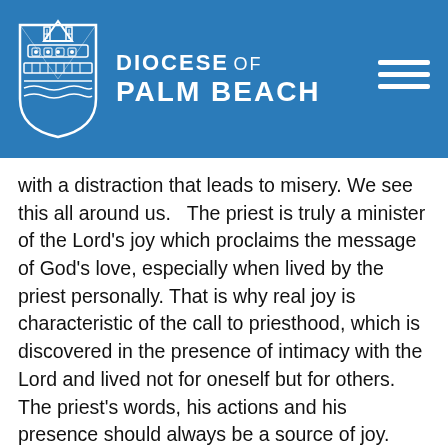[Figure (logo): Diocese of Palm Beach logo with bishop's mitre crest and text 'DIOCESE OF PALM BEACH' in white on blue header background]
with a distraction that leads to misery. We see this all around us.   The priest is truly a minister of the Lord's joy which proclaims the message of God's love, especially when lived by the priest personally. That is why real joy is characteristic of the call to priesthood, which is discovered in the presence of intimacy with the Lord and lived not for oneself but for others. The priest's words, his actions and his presence should always be a source of joy.
My brothers, as your hands are anointed today with Chrism, the oil of gladness, may you let that oil anoint